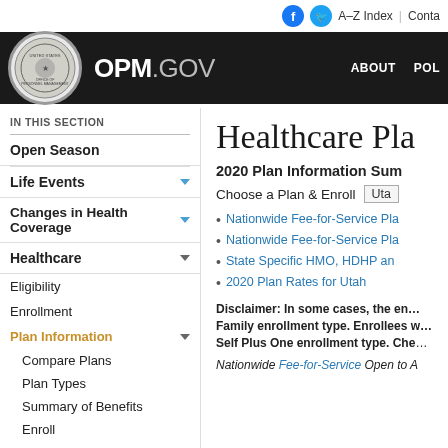OPM.GOV | A–Z Index | Contact
[Figure (logo): OPM.GOV government website header with seal and navigation]
IN THIS SECTION
Open Season
Life Events
Changes in Health Coverage
Healthcare
Eligibility
Enrollment
Plan Information
Compare Plans
Plan Types
Summary of Benefits
Enroll
Healthcare Pla…
2020 Plan Information Sum…
Choose a Plan & Enroll  Utah
Nationwide Fee-for-Service Pla…
Nationwide Fee-for-Service Pla…
State Specific HMO, HDHP an…
2020 Plan Rates for Utah
Disclaimer: In some cases, the en… Family enrollment type. Enrollees w… Self Plus One enrollment type. Che…
Nationwide Fee-for-Service Open to A…